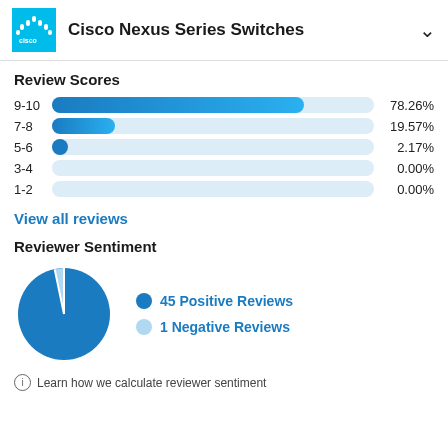Cisco Nexus Series Switches
Review Scores
[Figure (bar-chart): Review Scores]
View all reviews
Reviewer Sentiment
[Figure (pie-chart): Reviewer Sentiment]
Learn how we calculate reviewer sentiment